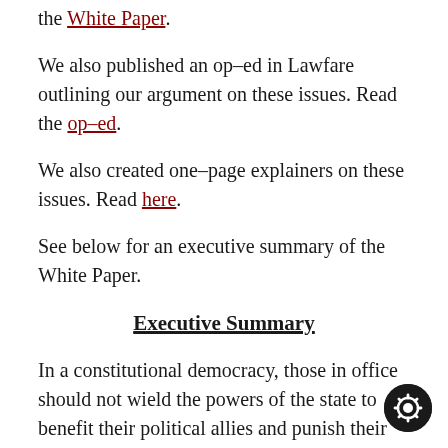the White Paper.
We also published an op-ed in Lawfare outlining our argument on these issues. Read the op-ed.
We also created one-page explainers on these issues. Read here.
See below for an executive summary of the White Paper.
Executive Summary
In a constitutional democracy, those in office should not wield the powers of the state to benefit their political allies and punish their opponents. In keeping with this principle, for 40 years, Administrations led by both parties have maintained policies limiting contacts between the White House